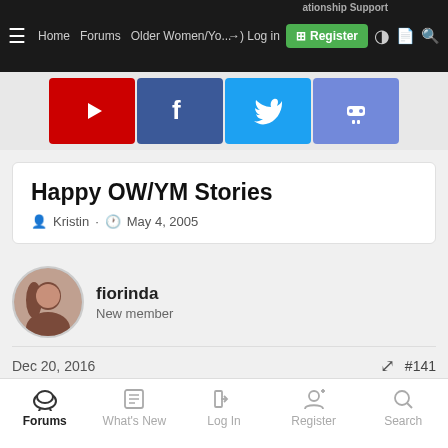Home · Forums · Older Women/Younger Men · Relationship Support | Log in | Register
[Figure (screenshot): Social media icon buttons: YouTube (red), Facebook (blue), Twitter (light blue), Discord (purple)]
Happy OW/YM Stories
Kristin · May 4, 2005
fiorinda
New member
Dec 20, 2016  #141
Can't get the video to load, I was looking forward to seeing you!! 😕
Forums · What's New · Log In · Register · Search